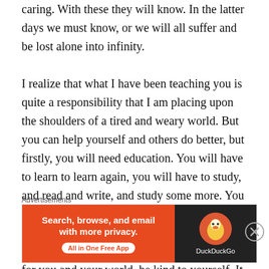caring. With these they will know. In the latter days we must know, or we will all suffer and be lost alone into infinity.
I realize that what I have been teaching you is quite a responsibility that I am placing upon the shoulders of a tired and weary world. But you can help yourself and others do better, but firstly, you will need education. You will have to learn to learn again, you will have to study, and read and write, and study some more. You must unlearn the old useless clutter and relearn the new. Teach or train yourself to greatness. Meditate and pray for things of a greater good for you and your world, be kind to yourself. It only takes one person to save the world, providing all care would listen and apply right thinking habits into our
Advertisements
[Figure (other): DuckDuckGo advertisement banner with orange left section reading 'Search, browse, and email with more privacy. All in One Free App' and dark right section with DuckDuckGo duck logo and brand name.]